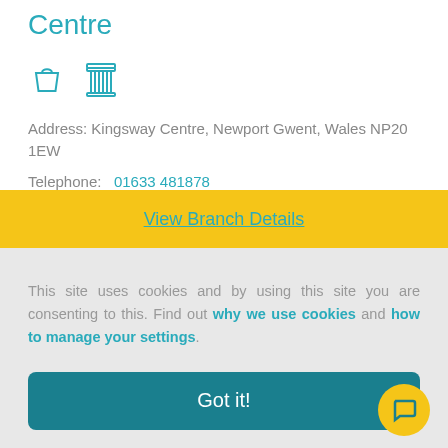SafeChange Newport – Kingsway Centre
[Figure (illustration): Two teal outline icons: a shopping bag and an ATM/column icon]
Address: Kingsway Centre, Newport Gwent, Wales NP20 1EW
Telephone: 01633 481878
View Branch Details
This site uses cookies and by using this site you are consenting to this. Find out why we use cookies and how to manage your settings.
Got it!